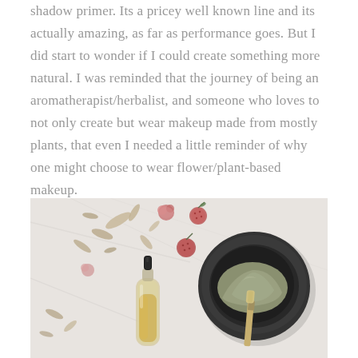shadow primer. Its a pricey well known line and its actually amazing, as far as performance goes. But I did start to wonder if I could create something more natural. I was reminded that the journey of being an aromatherapist/herbalist, and someone who loves to not only create but wear makeup made from mostly plants, that even I needed a little reminder of why one might choose to wear flower/plant-based makeup.
[Figure (photo): Flat lay photo of natural botanical ingredients including dried flowers, red berries/strawberries, a glass dropper bottle with amber liquid, and a dark stone mortar dish filled with green/grey powder and a brush, all on a light marble surface.]